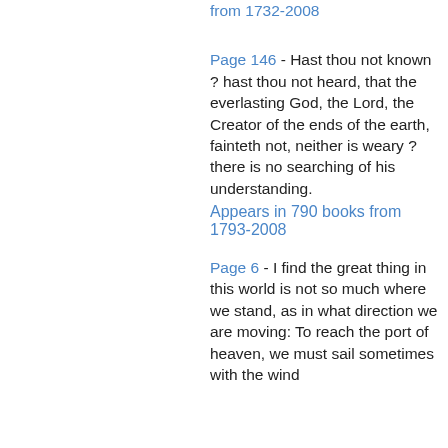Appears in ... from 1732-2008
Page 146 - Hast thou not known ? hast thou not heard, that the everlasting God, the Lord, the Creator of the ends of the earth, fainteth not, neither is weary ? there is no searching of his understanding. Appears in 790 books from 1793-2008
Page 6 - I find the great thing in this world is not so much where we stand, as in what direction we are moving: To reach the port of heaven, we must sail sometimes with the wind